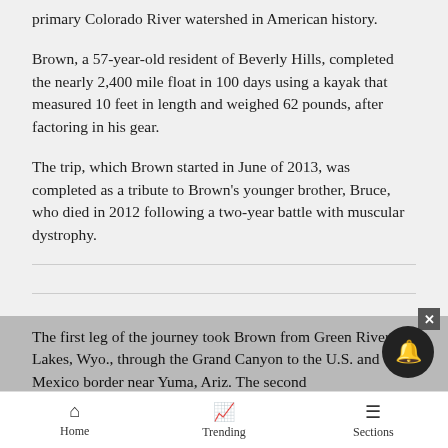primary Colorado River watershed in American history.
Brown, a 57-year-old resident of Beverly Hills, completed the nearly 2,400 mile float in 100 days using a kayak that measured 10 feet in length and weighed 62 pounds, after factoring in his gear.
The trip, which Brown started in June of 2013, was completed as a tribute to Brown’s younger brother, Bruce, who died in 2012 following a two-year battle with muscular dystrophy.
The first leg of the journey took Brown from Green River Lakes, Wyo., through the Grand Canyon to the U.S. and Mexico border near Yuma, Ariz. The second
Home   Trending   Sections